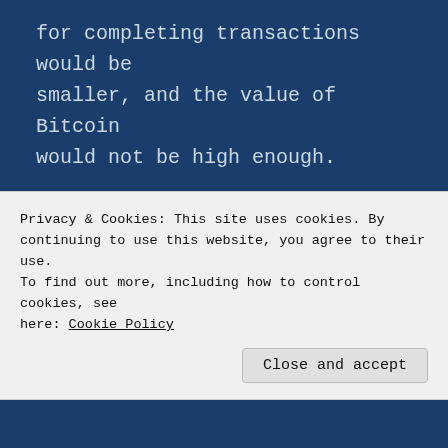for completing transactions would be smaller, and the value of Bitcoin would not be high enough.
To prevent this, Bitcoin has a process to change the difficulty it takes to get mining rewards, or in other words, the difficulty of mining a transaction.
In the event that the reward has been
Privacy & Cookies: This site uses cookies. By continuing to use this website, you agree to their use. To find out more, including how to control cookies, see here: Cookie Policy
Close and accept